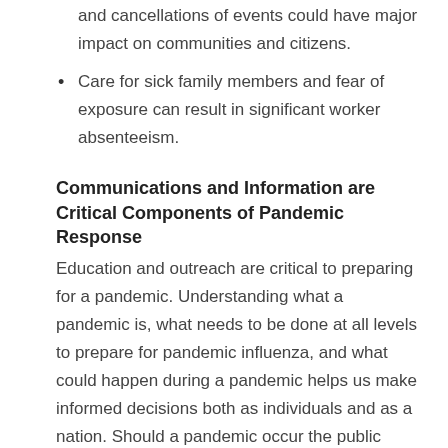and cancellations of events could have major impact on communities and citizens.
Care for sick family members and fear of exposure can result in significant worker absenteeism.
Communications and Information are Critical Components of Pandemic Response
Education and outreach are critical to preparing for a pandemic. Understanding what a pandemic is, what needs to be done at all levels to prepare for pandemic influenza, and what could happen during a pandemic helps us make informed decisions both as individuals and as a nation. Should a pandemic occur the public must be able to depend on its government to provide scientifically sound public health information quickly,